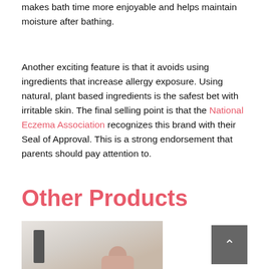makes bath time more enjoyable and helps maintain moisture after bathing.
Another exciting feature is that it avoids using ingredients that increase allergy exposure. Using natural, plant based ingredients is the safest bet with irritable skin. The final selling point is that the National Eczema Association recognizes this brand with their Seal of Approval. This is a strong endorsement that parents should pay attention to.
Other Products
[Figure (photo): Photo of a person using a product, with a dark rectangular product visible on the left side of the image]
[Figure (other): Gray scroll-to-top button with an upward-pointing chevron arrow]